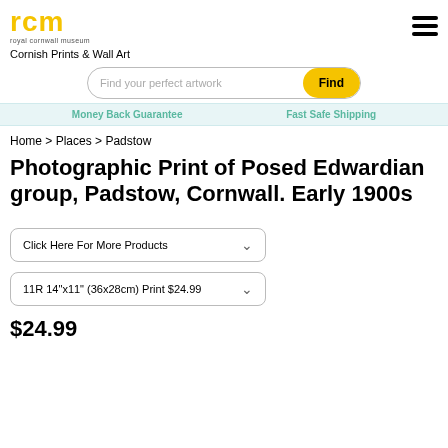[Figure (logo): Royal Cornwall Museum logo — 'rcm' in yellow bold text with 'royal cornwall museum' below in small grey text]
Cornish Prints & Wall Art
Find your perfect artwork  Find
Money Back Guarantee   Fast Safe Shipping
Home > Places > Padstow
Photographic Print of Posed Edwardian group, Padstow, Cornwall. Early 1900s
Click Here For More Products
11R 14"x11" (36x28cm) Print $24.99
$24.99